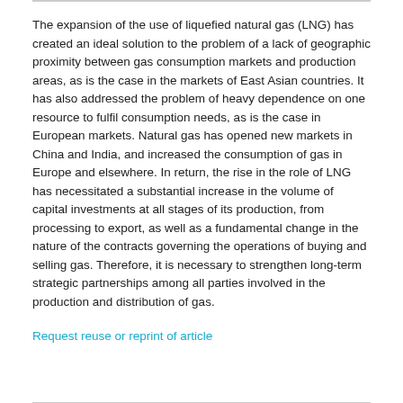The expansion of the use of liquefied natural gas (LNG) has created an ideal solution to the problem of a lack of geographic proximity between gas consumption markets and production areas, as is the case in the markets of East Asian countries. It has also addressed the problem of heavy dependence on one resource to fulfil consumption needs, as is the case in European markets. Natural gas has opened new markets in China and India, and increased the consumption of gas in Europe and elsewhere. In return, the rise in the role of LNG has necessitated a substantial increase in the volume of capital investments at all stages of its production, from processing to export, as well as a fundamental change in the nature of the contracts governing the operations of buying and selling gas. Therefore, it is necessary to strengthen long-term strategic partnerships among all parties involved in the production and distribution of gas.
Request reuse or reprint of article